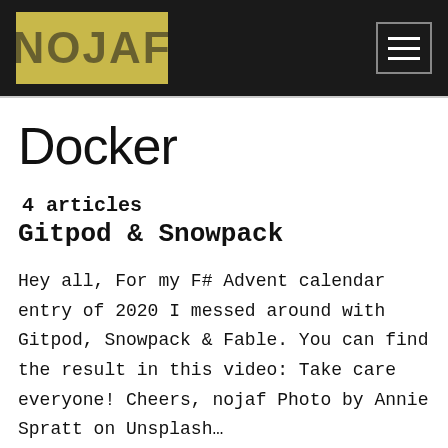NOJAF
Docker
4 articles
Gitpod & Snowpack
Hey all, For my F# Advent calendar entry of 2020 I messed around with Gitpod, Snowpack & Fable. You can find the result in this video: Take care everyone! Cheers, nojaf Photo by Annie Spratt on Unsplash…